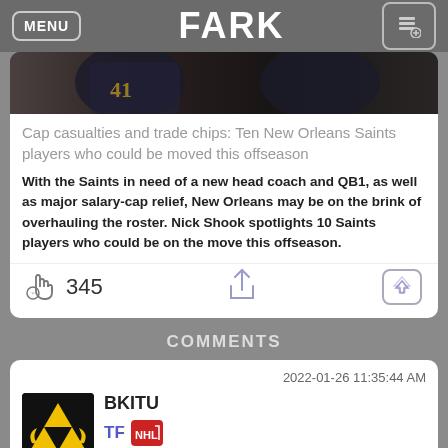MENU | FARK
[Figure (photo): Partial photo of New Orleans Saints player in dark uniform]
Cap casualties and trade chips: Ten New Orleans Saints players who could be moved this offseason
With the Saints in need of a new head coach and QB1, as well as major salary-cap relief, New Orleans may be on the brink of overhauling the roster. Nick Shook spotlights 10 Saints players who could be on the move this offseason.
345
COMMENTS
2022-01-26 11:35:44 AM
BKITU
Back to another couple decades of the Aint's.